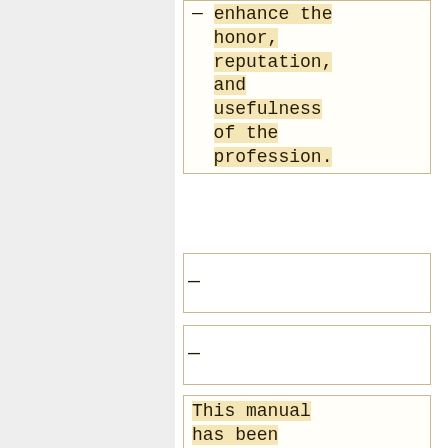enhance the honor, reputation, and usefulness of the profession.
This manual has been revised throughout to incorporate changes brought about by the release of the 2013